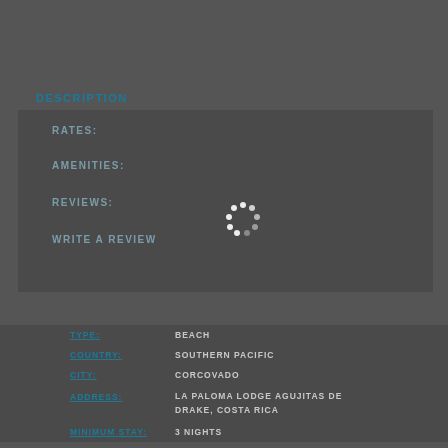DESCRIPTION
RATES:
AMENITIES:
REVIEWS:
WRITE A REVIEW
[Figure (other): Loading spinner animation — circular dots pattern in white on dark background]
TYPE: BEACH
COUNTRY: SOUTHERN PACIFIC
CITY: CORCOVADO
ADDRESS: LA PALOMA LODGE AGUJITAS DE DRAKE, COSTA RICA
MINIMUM STAY: 3 NIGHTS